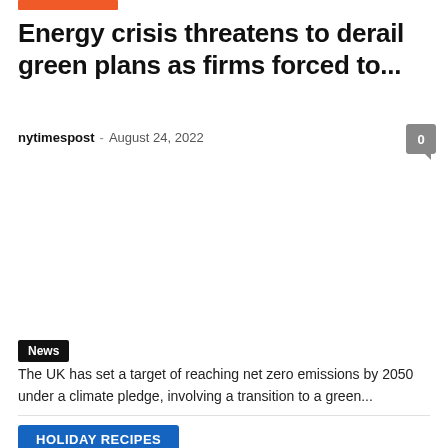Energy crisis threatens to derail green plans as firms forced to...
nytimespost - August 24, 2022
0
News
The UK has set a target of reaching net zero emissions by 2050 under a climate pledge, involving a transition to a green...
HOLIDAY RECIPES